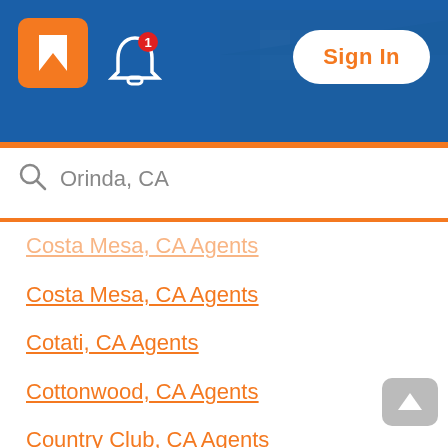[Figure (screenshot): Realtor.com app header with orange R logo, bell notification icon with red badge showing 1, and Sign In button on blue background with house image]
Orinda, CA
Costa Mesa, CA Agents
Cotati, CA Agents
Cottonwood, CA Agents
Country Club, CA Agents
Covina, CA Agents
Crestline, CA Agents
Cudahy, CA Agents
Culver City, CA Agents
Cupertino, CA Agents
Cypress, CA Agents
Daly City, CA Agents